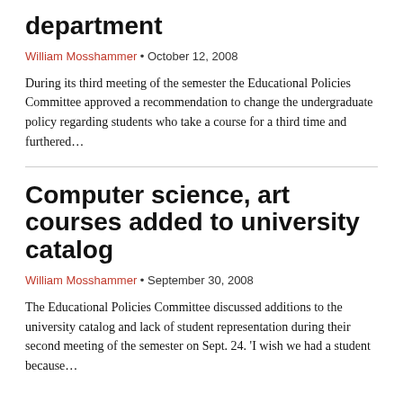department
William Mosshammer • October 12, 2008
During its third meeting of the semester the Educational Policies Committee approved a recommendation to change the undergraduate policy regarding students who take a course for a third time and furthered…
Computer science, art courses added to university catalog
William Mosshammer • September 30, 2008
The Educational Policies Committee discussed additions to the university catalog and lack of student representation during their second meeting of the semester on Sept. 24. 'I wish we had a student because…